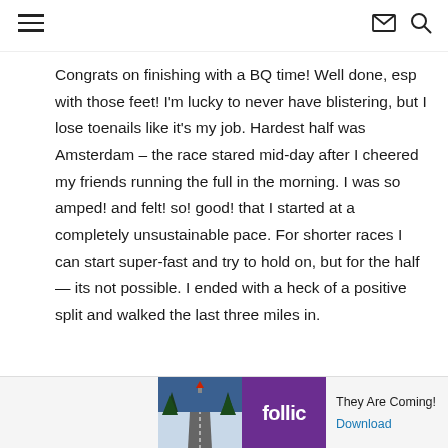Navigation bar with hamburger menu, envelope icon, and search icon
Congrats on finishing with a BQ time! Well done, esp with those feet! I'm lucky to never have blistering, but I lose toenails like it's my job. Hardest half was Amsterdam – the race stared mid-day after I cheered my friends running the full in the morning. I was so amped! and felt! so! good! that I started at a completely unsustainable pace. For shorter races I can start super-fast and try to hold on, but for the half — its not possible. I ended with a heck of a positive split and walked the last three miles in.
[Figure (screenshot): Ad banner for Follic game 'They Are Coming!' with photo of snowy road scene, purple Follic logo, tagline and Download link]